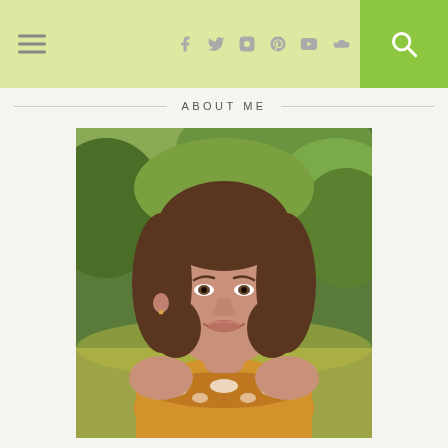Navigation bar with hamburger menu, social icons (Facebook, Twitter, Instagram, Pinterest, YouTube, SoundCloud), and search button
ABOUT ME
[Figure (photo): Portrait photo of Karen DeBeus, a woman with shoulder-length brown hair wearing a yellow embroidered top, smiling outdoors with green foliage in the background.]
Karen DeBeus is a homeschooling mom